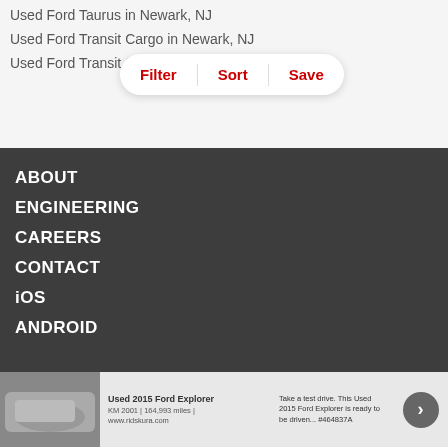Used Ford Taurus in Newark, NJ
Used Ford Transit Cargo in Newark, NJ
Used Ford Transit C...
Filter  |  Sort  |  Save
ABOUT
ENGINEERING
CAREERS
CONTACT
iOS
ANDROID
[Figure (illustration): Twitter bird logo icon in white]
[Figure (screenshot): Ad banner: Used 2015 Ford Explorer with photo of white SUV, text 'Take a test drive. This Used 2015 Ford Explorer is ready to be driven... #464837A', and a right arrow button]